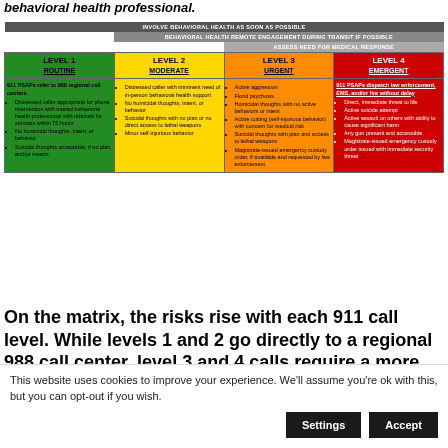behavioral health professional.
[Figure (infographic): A 4-column matrix showing 911 call levels (Level 1 Routine, Level 2 Moderate, Level 3 Urgent, Level 4 Emergent) with associated behaviors and response protocols. Top banners indicate: INVOLVE BEHAVIORAL HEALTH AS SOON AS POSSIBLE, BEHAVIORAL HEALTH REMOTE ENGAGEMENT DURING TRANSIT IF POSSIBLE, ASSESS NEED FOR MEDICAL RESPONSE.]
On the matrix, the risks rise with each 911 call level. While levels 1 and 2 go directly to a regional 988 call center, level 3 and 4 calls require a more nuanced approach. Robinson-
This website uses cookies to improve your experience. We'll assume you're ok with this, but you can opt-out if you wish.